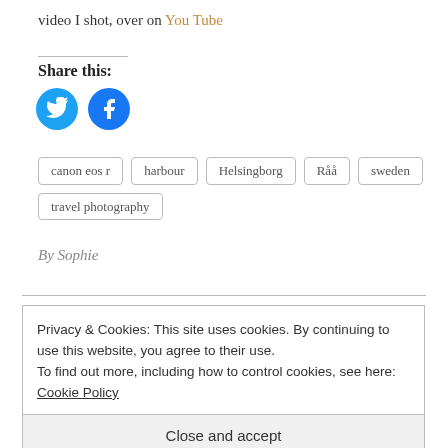video I shot, over on You Tube
Share this:
[Figure (illustration): Twitter and Facebook social share icons — two circular blue buttons with bird and f logos]
canon eos r
harbour
Helsingborg
Råå
sweden
travel photography
By Sophie
Privacy & Cookies: This site uses cookies. By continuing to use this website, you agree to their use.
To find out more, including how to control cookies, see here: Cookie Policy
Close and accept